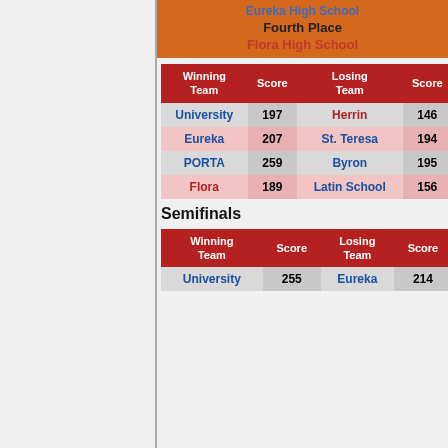Eureka High School
Fourth Place
Flora High School
| Winning Team | Score | Losing Team | Score |
| --- | --- | --- | --- |
| University | 197 | Herrin | 146 |
| Eureka | 207 | St. Teresa | 194 |
| PORTA | 259 | Byron | 195 |
| Flora | 189 | Latin School | 156 |
Semifinals
| Winning Team | Score | Losing Team | Score |
| --- | --- | --- | --- |
| University | 255 | Eureka | 214 |